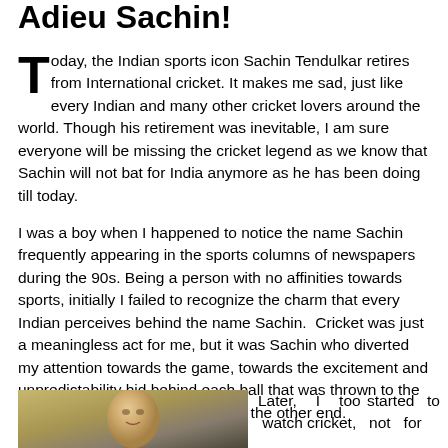Adieu Sachin!
Today, the Indian sports icon Sachin Tendulkar retires from International cricket. It makes me sad, just like every Indian and many other cricket lovers around the world. Though his retirement was inevitable, I am sure everyone will be missing the cricket legend as we know that Sachin will not bat for India anymore as he has been doing till today.
I was a boy when I happened to notice the name Sachin frequently appearing in the sports columns of newspapers during the 90s. Being a person with no affinities towards sports, initially I failed to recognize the charm that every Indian perceives behind the name Sachin. Cricket was just a meaningless act for me, but it was Sachin who diverted my attention towards the game, towards the excitement and unpredictability hid behind each ball that was thrown to the batsman at crease by a bowler at the other end.
[Figure (photo): Photo of Sachin Tendulkar, partially visible, bottom portion of the page left side]
Later, I too started to watch cricket, not for